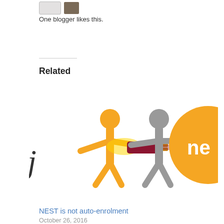One blogger likes this.
Related
[Figure (illustration): Two stick figures connecting plugs together, with an orange figure on the left pushing an orange/yellow plug and a grey figure on the right pushing a dark red plug. Partially visible orange circle with 'ne' text on the right side.]
NEST is not auto-enrolment
October 26, 2016
In "advice gap"
[Figure (photo): Partial photo of a person in grey/brown clothing, cropped at the left edge of frame.]
So what’s a good
March 15, 2013
In "actuaries"
What do we tell our members?
Yesterday’s keynote speech from David Farrar at